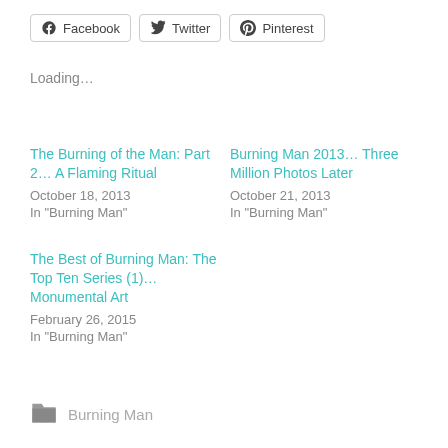[Figure (other): Social share buttons for Facebook, Twitter, and Pinterest]
Loading...
The Burning of the Man: Part 2… A Flaming Ritual
October 18, 2013
In "Burning Man"
Burning Man 2013… Three Million Photos Later
October 21, 2013
In "Burning Man"
The Best of Burning Man: The Top Ten Series (1)… Monumental Art
February 26, 2015
In "Burning Man"
Burning Man